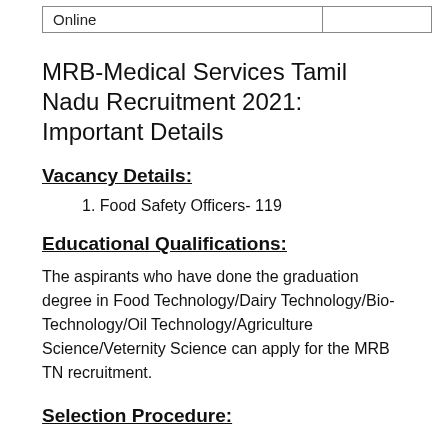| Online |  |
MRB-Medical Services Tamil Nadu Recruitment 2021: Important Details
Vacancy Details:
1. Food Safety Officers- 119
Educational Qualifications:
The aspirants who have done the graduation degree in Food Technology/Dairy Technology/Bio-Technology/Oil Technology/Agriculture Science/Veternity Science can apply for the MRB TN recruitment.
Selection Procedure: